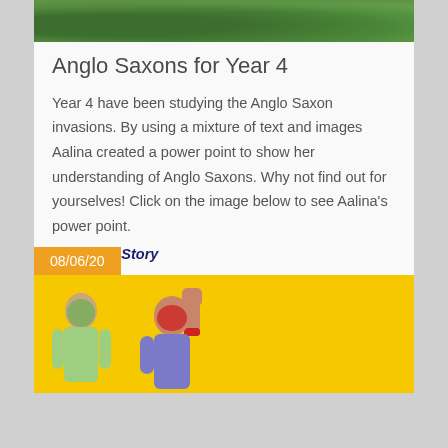[Figure (photo): Aerial or landscape photo showing green fields/vegetation, cropped to a narrow strip at the top of the card.]
Anglo Saxons for Year 4
Year 4 have been studying the Anglo Saxon invasions. By using a mixture of text and images Aalina created a power point to show her understanding of Anglo Saxons. Why not find out for yourselves! Click on the image below to see Aalina's power point.
Read Full Story
08/06/20
[Figure (photo): Photo of children with face paint against a bright yellow background; one child has fist raised; partially cropped at bottom.]